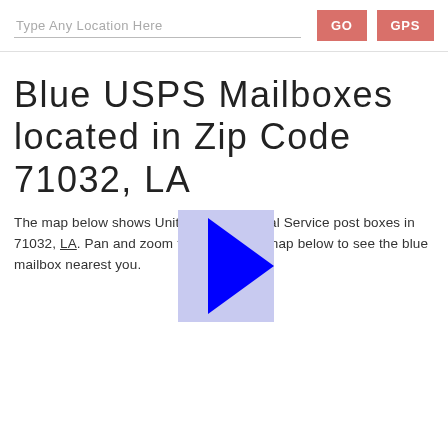Type Any Location Here | GO | GPS
Blue USPS Mailboxes located in Zip Code 71032, LA
The map below shows United States Postal Service post boxes in 71032, LA. Pan and zoom the interactive map below to see the blue mailbox nearest you.
[Figure (other): A play button / right-pointing arrow icon overlaid on the content area, with a blue triangle on a light lavender/periwinkle square background.]